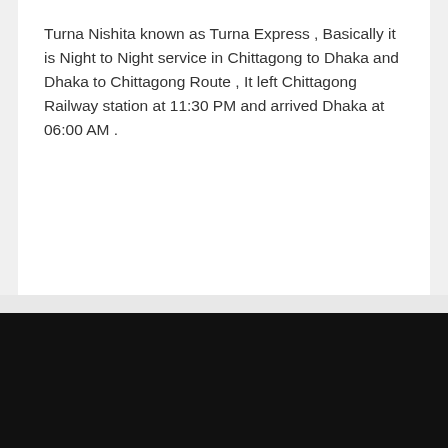Turna Nishita known as Turna Express , Basically it is Night to Night service in Chittagong to Dhaka and Dhaka to Chittagong Route , It left Chittagong Railway station at 11:30 PM and arrived Dhaka at 06:00 AM .
Discover